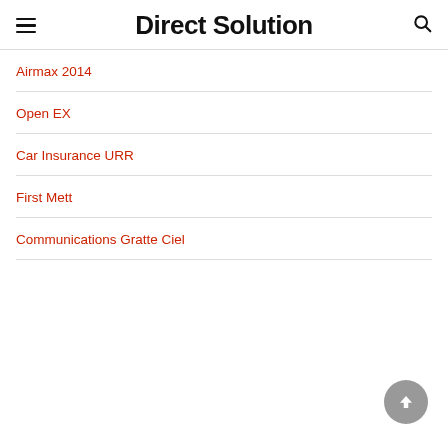Direct Solution
Airmax 2014
Open EX
Car Insurance URR
First Mett
Communications Gratte Ciel